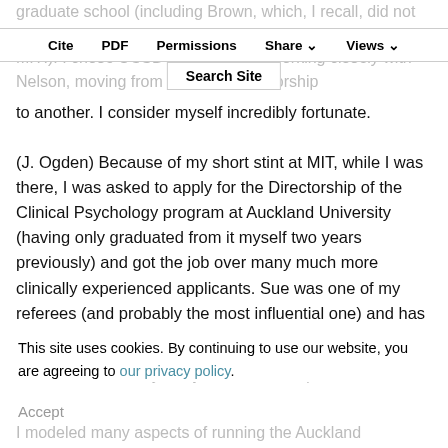graduate school (including Brown, which, I recall, did not accept me as an undergraduate – thank you Sue and MIT!). I chose UCSD and ended up working closely with Nelson, moving from one great mentorship to another. I consider myself incredibly fortunate.
Cite   PDF   Permissions   Share   Views   Search Site
(J. Ogden) Because of my short stint at MIT, while I was there, I was asked to apply for the Directorship of the Clinical Psychology program at Auckland University (having only graduated from it myself two years previously) and got the job over many much more clinically experienced applicants. Sue was one of my referees (and probably the most influential one) and has
This site uses cookies. By continuing to use our website, you are agreeing to our privacy policy.
Accept
I modeled many aspects of running the Auckland